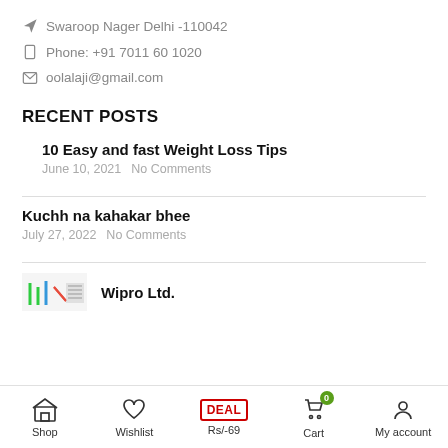Swaroop Nager Delhi -110042
Phone: +91 7011 60 1020
oolalaji@gmail.com
RECENT POSTS
10 Easy and fast Weight Loss Tips
June 10, 2021  No Comments
Kuchh na kahakar bhee
July 27, 2022  No Comments
Wipro Ltd.
Shop  Wishlist  Rs/-69  Cart 0  My account